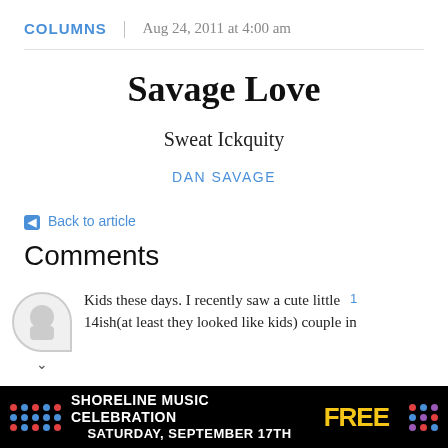COLUMNS | Aug 24, 2011 at 4:00 am
Savage Love
Sweat Ickquity
DAN SAVAGE
← Back to article
Comments
Kids these days. I recently saw a cute little 14ish(at least they looked like kids) couple in
[Figure (infographic): Advertisement banner: SHORELINE MUSIC CELEBRATION SATURDAY, SEPTEMBER 17TH FREE]